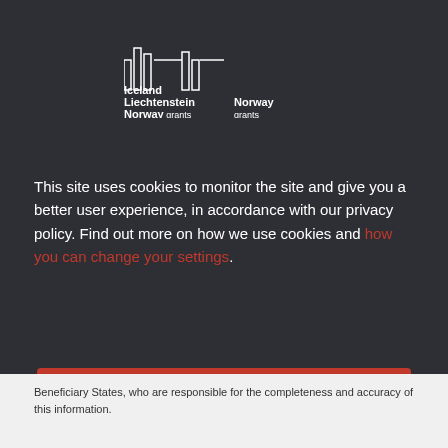[Figure (logo): Iceland Liechtenstein Norway grants and Norway grants logos with building/bar chart icon in white on dark background]
This site uses cookies to monitor the site and give you a better user experience, in accordance with our privacy policy. Find out more on how we use cookies and how you can change your settings.
Accept all cookies
No thanks, only technically necessary cookies
Beneficiary States, who are responsible for the completeness and accuracy of this information.